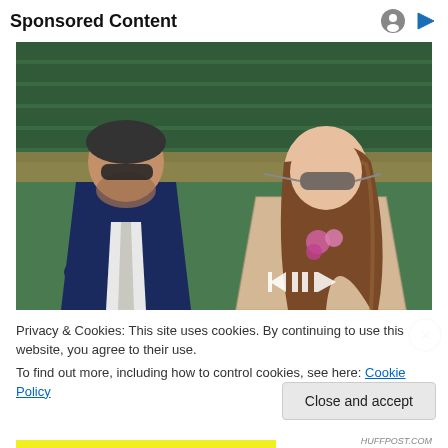Sponsored Content
[Figure (photo): Two people sitting in stadium seats at what appears to be a tennis match. An older man wearing sunglasses and a dark navy suit with a light tie sits on the left. A young woman with long brown hair, wearing sunglasses and a beige lace outfit with a pink flower, sits on the right. Green stadium seats are visible in the background. Media player controls (rewind, pause, forward) are overlaid at the bottom right.]
Privacy & Cookies: This site uses cookies. By continuing to use this website, you agree to their use.
To find out more, including how to control cookies, see here: Cookie Policy
Close and accept